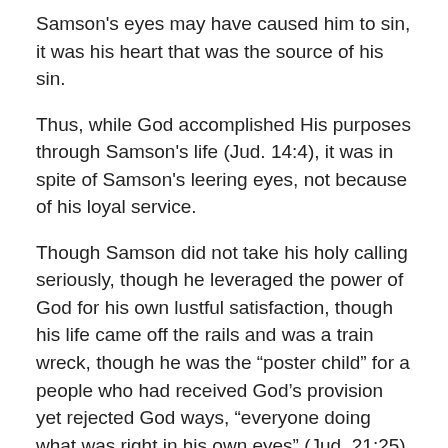Samson's eyes may have caused him to sin, it was his heart that was the source of his sin.
Thus, while God accomplished His purposes through Samson's life (Jud. 14:4), it was in spite of Samson's leering eyes, not because of his loyal service.
Though Samson did not take his holy calling seriously, though he leveraged the power of God for his own lustful satisfaction, though his life came off the rails and was a train wreck, though he was the “poster child” for a people who had received God’s provision yet rejected God ways, “everyone doing what was right in his own eyes” (Jud. 21:25), yet God answered Samson’s prayer as a way to show a wayward people, if they would notice, that He would not leave them nor forsake them.
If only they had eyes to see.